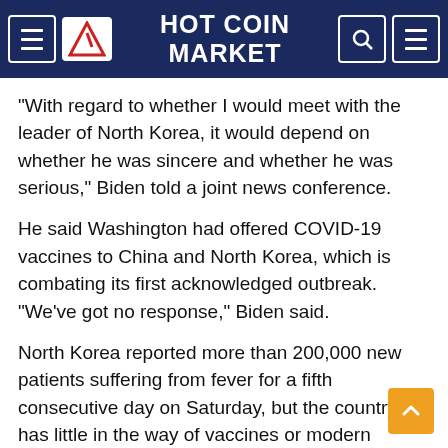HOT COIN MARKET
"With regard to whether I would meet with the leader of North Korea, it would depend on whether he was sincere and whether he was serious," Biden told a joint news conference.
He said Washington had offered COVID-19 vaccines to China and North Korea, which is combating its first acknowledged outbreak. "We've got no response," Biden said.
North Korea reported more than 200,000 new patients suffering from fever for a fifth consecutive day on Saturday, but the country has little in the way of vaccines or modern treatment for the pandemic.
EXPANDING ALLIANCE